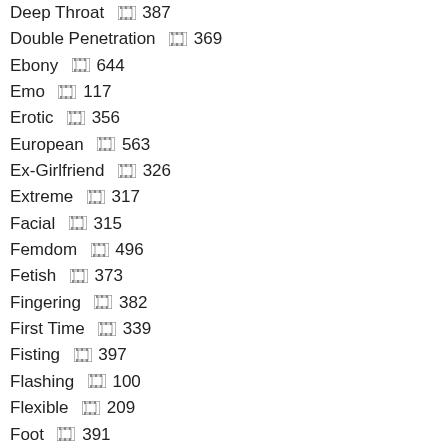Deep Throat 🎞 387
Double Penetration 🎞 369
Ebony 🎞 644
Emo 🎞 117
Erotic 🎞 356
European 🎞 563
Ex-Girlfriend 🎞 326
Extreme 🎞 317
Facial 🎞 315
Femdom 🎞 496
Fetish 🎞 373
Fingering 🎞 382
First Time 🎞 339
Fisting 🎞 397
Flashing 🎞 100
Flexible 🎞 209
Foot 🎞 391
Funny 🎞 304